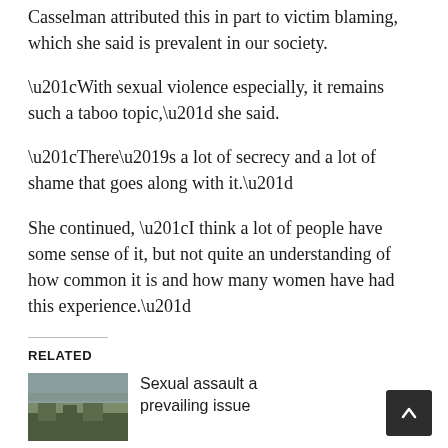Casselman attributed this in part to victim blaming, which she said is prevalent in our society.
“With sexual violence especially, it remains such a taboo topic,” she said.
“There’s a lot of secrecy and a lot of shame that goes along with it.”
She continued, “I think a lot of people have some sense of it, but not quite an understanding of how common it is and how many women have had this experience.”
RELATED
Sexual assault a prevailing issue